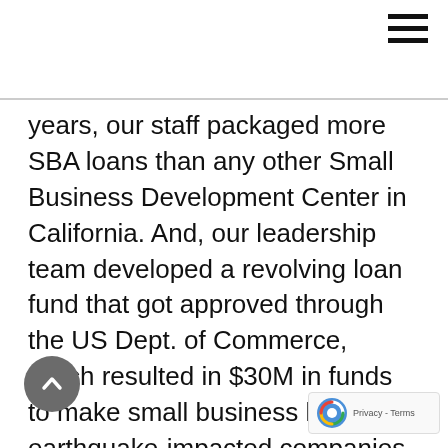≡ (hamburger menu icon)
years, our staff packaged more SBA loans than any other Small Business Development Center in California. And, our leadership team developed a revolving loan fund that got approved through the US Dept. of Commerce, which resulted in $30M in funds to make small business loans to earthquake-impacted companies in the Southland. And, I directed an economic development research study for the San Fernando Valley, which if it were a city today would be the 5th largest in the nation – larger than the cities of Phoenix, San Diego, San Antonio, Dallas or Philadelphia. Our strategic vision for the region resulted in the formation of The Valley Economic Allia...